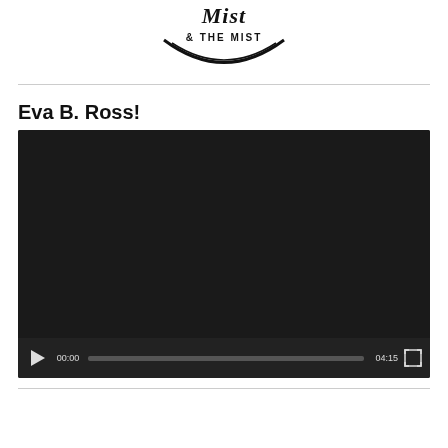[Figure (logo): Partial logo showing '& THE MIST' text in a stylized circular badge design with cursive and bold serif fonts]
Eva B. Ross!
[Figure (screenshot): Embedded video player with black screen, showing controls: play button, time 00:00, progress bar, duration 04:15, and fullscreen button]